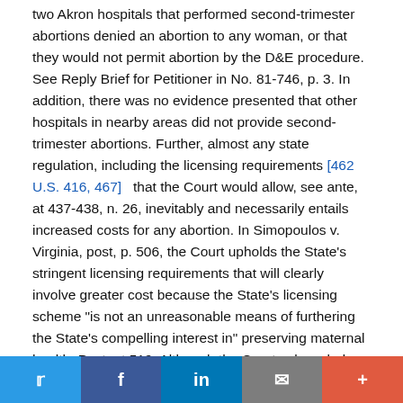two Akron hospitals that performed second-trimester abortions denied an abortion to any woman, or that they would not permit abortion by the D&E procedure. See Reply Brief for Petitioner in No. 81-746, p. 3. In addition, there was no evidence presented that other hospitals in nearby areas did not provide second-trimester abortions. Further, almost any state regulation, including the licensing requirements [462 U.S. 416, 467]   that the Court would allow, see ante, at 437-438, n. 26, inevitably and necessarily entails increased costs for any abortion. In Simopoulos v. Virginia, post, p. 506, the Court upholds the State's stringent licensing requirements that will clearly involve greater cost because the State's licensing scheme "is not an unreasonable means of furthering the State's compelling interest in" preserving maternal health. Post, at 519. Although the Court acknowledges this indisputably correct notion in Simopoulos, it inexplicably refuses to apply it in this case. A
Twitter | Facebook | LinkedIn | Email | +